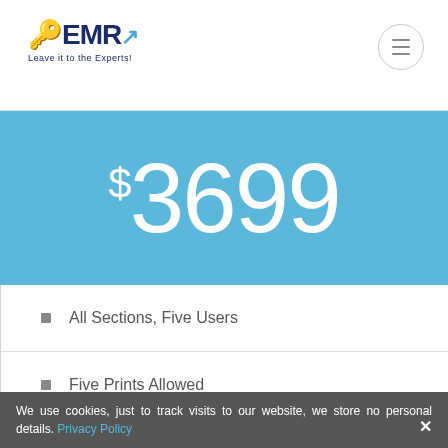EMR - Leave it to the Experts!
$3699
All Sections, Five Users
Five Prints Allowed
Email Delivery in PDF
Free Limited Customisation
Post Sales Analyst Support
We use cookies, just to track visits to our website, we store no personal details. Privacy Policy